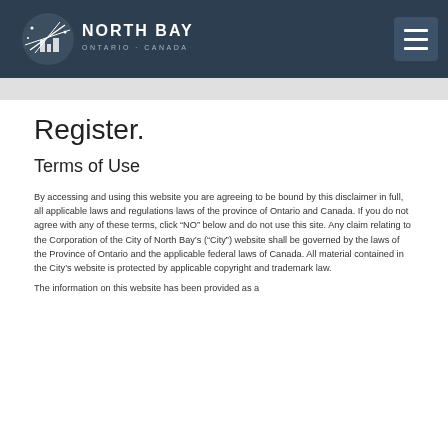North Bay Ontario Canada
Register.
Terms of Use
By accessing and using this website you are agreeing to be bound by this disclaimer in full, all applicable laws and regulations laws of the province of Ontario and Canada. If you do not agree with any of these terms, click “NO” below and do not use this site. Any claim relating to the Corporation of the City of North Bay’s (“City”) website shall be governed by the laws of the Province of Ontario and the applicable federal laws of Canada. All material contained in the City’s website is protected by applicable copyright and trademark law.
The information on this website has been provided as a